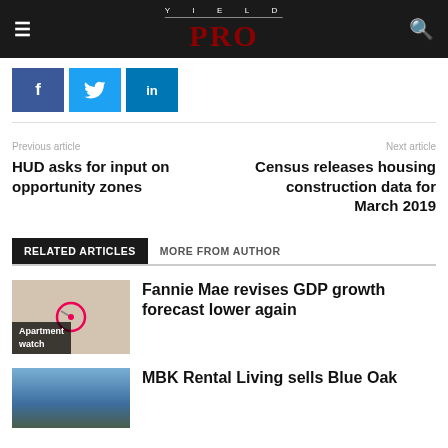YIELD PRO
[Figure (logo): Yield PRO magazine logo with YIELD in small caps and PRO in large red serif text]
Previous article
HUD asks for input on opportunity zones
Next article
Census releases housing construction data for March 2019
RELATED ARTICLES   MORE FROM AUTHOR
[Figure (photo): Thumbnail image with beige background, gauge/dial icon, and 'Apartment watch' label overlay]
Fannie Mae revises GDP growth forecast lower again
[Figure (photo): Blue mountain/landscape photograph thumbnail]
MBK Rental Living sells Blue Oak